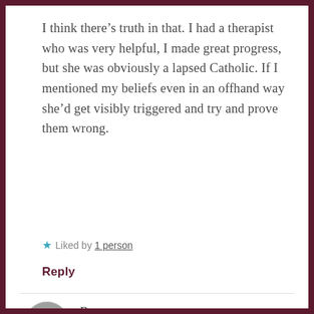I think there’s truth in that. I had a therapist who was very helpful, I made great progress, but she was obviously a lapsed Catholic. If I mentioned my beliefs even in an offhand way she’d get visibly triggered and try and prove them wrong.
★ Liked by 1 person
Reply
Roy
JULY 15, 2021 AT 9:43 AM